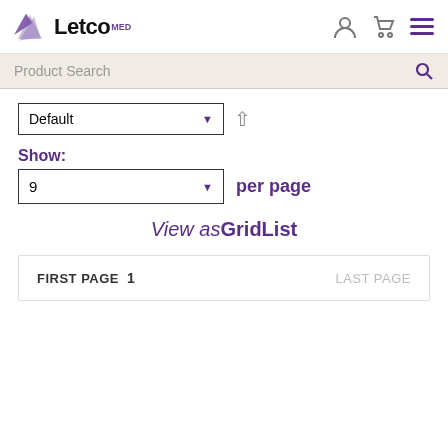[Figure (logo): Letco MED logo with purple geometric shape and text]
Product Search
Default
Show:
9 per page
View as Grid List
FIRST PAGE 1 LAST PAGE